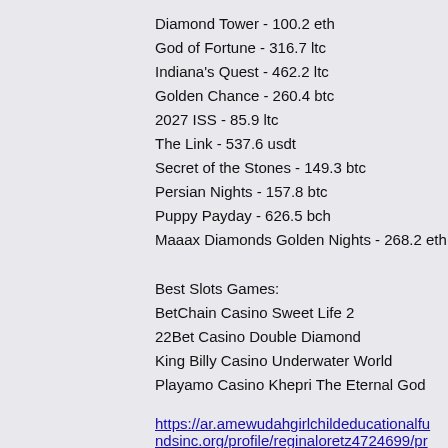Diamond Tower - 100.2 eth
God of Fortune - 316.7 ltc
Indiana's Quest - 462.2 ltc
Golden Chance - 260.4 btc
2027 ISS - 85.9 ltc
The Link - 537.6 usdt
Secret of the Stones - 149.3 btc
Persian Nights - 157.8 btc
Puppy Payday - 626.5 bch
Maaax Diamonds Golden Nights - 268.2 eth
Best Slots Games:
BetChain Casino Sweet Life 2
22Bet Casino Double Diamond
King Billy Casino Underwater World
Playamo Casino Khepri The Eternal God
https://ar.amewudahgirlchildeducationalfundsinc.org/profile/reginaloretz4724699/profile
https://www.providencepilates.org/profile/arvi